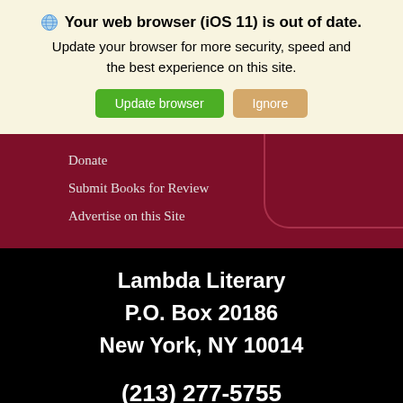🌐 Your web browser (iOS 11) is out of date. Update your browser for more security, speed and the best experience on this site.
Update browser | Ignore
Donate
Submit Books for Review
Advertise on this Site
Lambda Literary
P.O. Box 20186
New York, NY 10014
(213) 277-5755